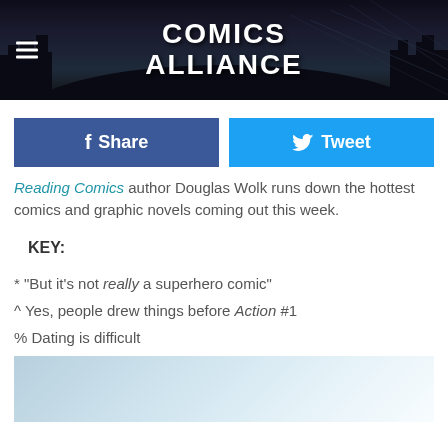[Figure (screenshot): Comics Alliance website header banner with cityscape silhouette background, hamburger menu icon on left, and Comics Alliance logo in white bold text in center]
[Figure (infographic): Two social media buttons: dark blue Facebook Share button and light blue Twitter Tweet button]
Reading Comics author Douglas Wolk runs down the hottest comics and graphic novels coming out this week.
KEY:
* "But it's not really a superhero comic"
^ Yes, people drew things before Action #1
% Dating is difficult
[Figure (photo): Partial image at bottom of page showing a light blue and white surface, appears to be a book or comic cover]